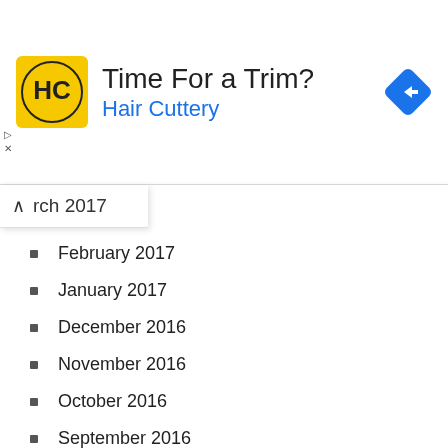[Figure (other): Hair Cuttery advertisement banner with yellow logo, 'Time For a Trim?' headline, 'Hair Cuttery' subtitle in blue, and a blue navigation diamond icon on the right]
rch 2017
February 2017
January 2017
December 2016
November 2016
October 2016
September 2016
August 2016
July 2016
June 2016
May 2016
April 2016
March 2016